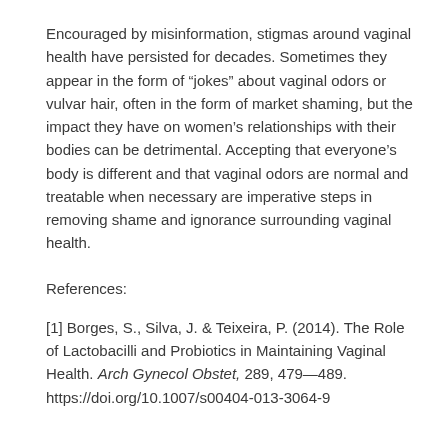Encouraged by misinformation, stigmas around vaginal health have persisted for decades. Sometimes they appear in the form of “jokes” about vaginal odors or vulvar hair, often in the form of market shaming, but the impact they have on women’s relationships with their bodies can be detrimental. Accepting that everyone’s body is different and that vaginal odors are normal and treatable when necessary are imperative steps in removing shame and ignorance surrounding vaginal health.
References:
[1] Borges, S., Silva, J. & Teixeira, P. (2014). The Role of Lactobacilli and Probiotics in Maintaining Vaginal Health. Arch Gynecol Obstet, 289, 479—489. https://doi.org/10.1007/s00404-013-3064-9